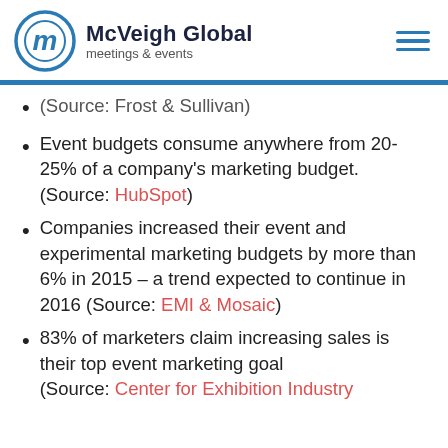McVeigh Global meetings & events
(Source: Frost & Sullivan)
Event budgets consume anywhere from 20-25% of a company's marketing budget. (Source: HubSpot)
Companies increased their event and experimental marketing budgets by more than 6% in 2015 – a trend expected to continue in 2016 (Source: EMI & Mosaic)
83% of marketers claim increasing sales is their top event marketing goal (Source: Center for Exhibition Industry